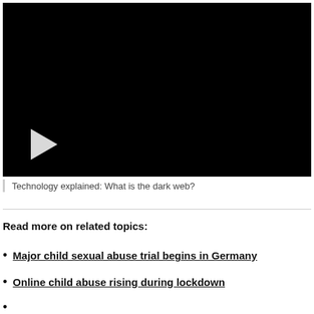[Figure (screenshot): Black video player with a white play button triangle in the lower-left area]
Technology explained: What is the dark web?
Read more on related topics:
Major child sexual abuse trial begins in Germany
Online child abuse rising during lockdown